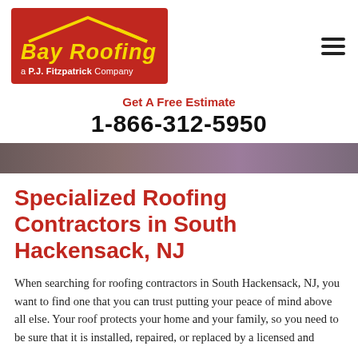[Figure (logo): Bay Roofing - a P.J. Fitzpatrick Company logo on red background with yellow roof icon]
Get A Free Estimate
1-866-312-5950
[Figure (photo): Partial hero image strip showing roofing work, purple/grey tones]
Specialized Roofing Contractors in South Hackensack, NJ
When searching for roofing contractors in South Hackensack, NJ, you want to find one that you can trust putting your peace of mind above all else. Your roof protects your home and your family, so you need to be sure that it is installed, repaired, or replaced by a licensed and